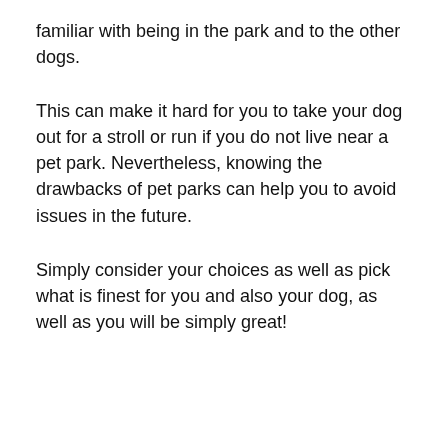familiar with being in the park and to the other dogs.
This can make it hard for you to take your dog out for a stroll or run if you do not live near a pet park. Nevertheless, knowing the drawbacks of pet parks can help you to avoid issues in the future.
Simply consider your choices as well as pick what is finest for you and also your dog, as well as you will be simply great!